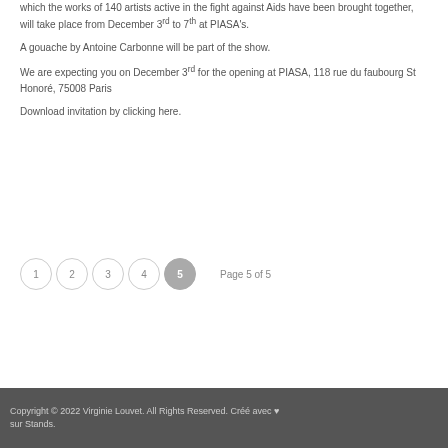which the works of 140 artists active in the fight against Aids have been brought together, will take place from December 3rd to 7th at PIASA's.
A gouache by Antoine Carbonne will be part of the show.
We are expecting you on December 3rd for the opening at PIASA, 118 rue du faubourg St Honoré, 75008 Paris
Download invitation by clicking here.
Copyright © 2022 Virginie Louvet. All Rights Reserved. Créé avec ♥ sur Stands.